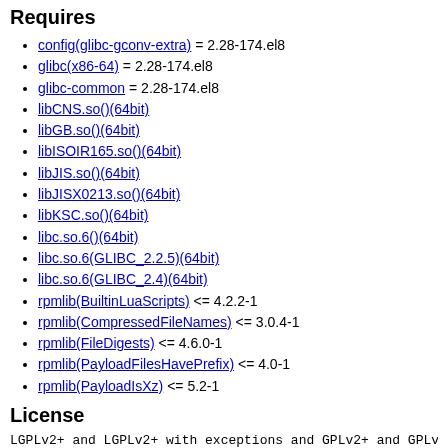Requires
config(glibc-gconv-extra) = 2.28-174.el8
glibc(x86-64) = 2.28-174.el8
glibc-common = 2.28-174.el8
libCNS.so()(64bit)
libGB.so()(64bit)
libISOIR165.so()(64bit)
libJIS.so()(64bit)
libJISX0213.so()(64bit)
libKSC.so()(64bit)
libc.so.6()(64bit)
libc.so.6(GLIBC_2.2.5)(64bit)
libc.so.6(GLIBC_2.4)(64bit)
rpmlib(BuiltinLuaScripts) <= 4.2.2-1
rpmlib(CompressedFileNames) <= 3.0.4-1
rpmlib(FileDigests) <= 4.6.0-1
rpmlib(PayloadFilesHavePrefix) <= 4.0-1
rpmlib(PayloadIsXz) <= 5.2-1
License
LGPLv2+ and LGPLv2+ with exceptions and GPLv2+ and GPLv2-
Changelog